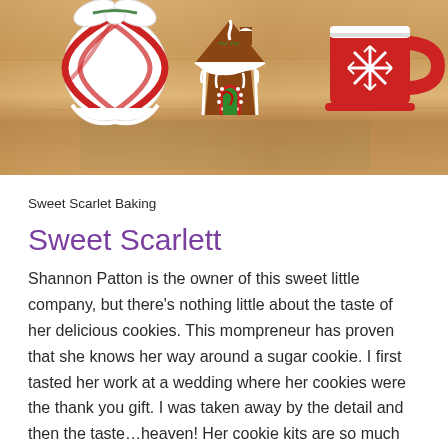[Figure (photo): Three decorated Christmas sugar cookies on a wooden surface: a peppermint candy, a gingerbread house, and a red mug with snowflake design]
Sweet Scarlet Baking
Sweet Scarlett
Shannon Patton is the owner of this sweet little company, but there's nothing little about the taste of her delicious cookies. This mompreneur has proven that she knows her way around a sugar cookie. I first tasted her work at a wedding where her cookies were the thank you gift. I was taken away by the detail and then the taste…heaven! Her cookie kits are so much fun and make great gifts